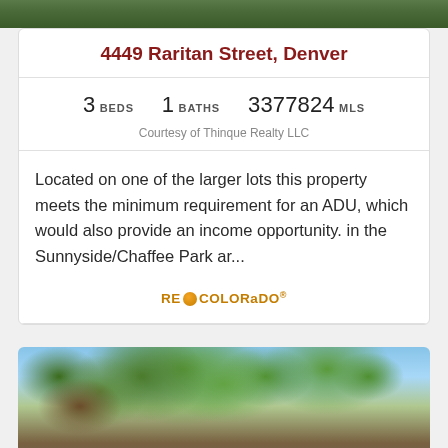[Figure (photo): Top strip of property or exterior photo, cropped]
4449 Raritan Street, Denver
3 BEDS   1 BATHS   3377824 MLS
Courtesy of Thinque Realty LLC
Located on one of the larger lots this property meets the minimum requirement for an ADU, which would also provide an income opportunity. in the Sunnyside/Chaffee Park ar...
[Figure (logo): RE/Colorado logo with orange dot]
[Figure (photo): Exterior photo of house with large tree in foreground and blue sky]